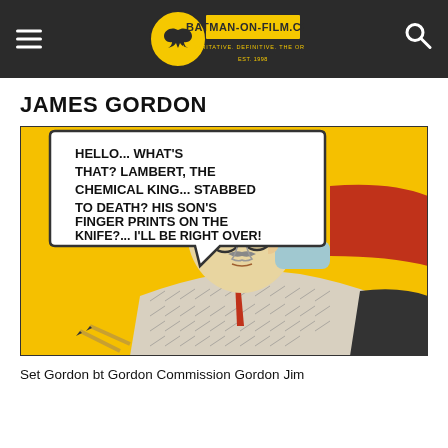BATMAN-ON-FILM.COM — AUTHORITATIVE. DEFINITIVE. THE ORIGINAL. EST. 1998
JAMES GORDON
[Figure (illustration): Comic book panel showing James Gordon, an older man with glasses and a mustache wearing a patterned suit, talking on a telephone. He has a speech bubble reading: HELLO... WHAT'S THAT? LAMBERT, THE CHEMICAL KING... STABBED TO DEATH? HIS SON'S FINGER PRINTS ON THE KNIFE?... I'LL BE RIGHT OVER! Background is yellow with a red chair visible.]
Set Gordon bt Gordon Commission Gordon Jim